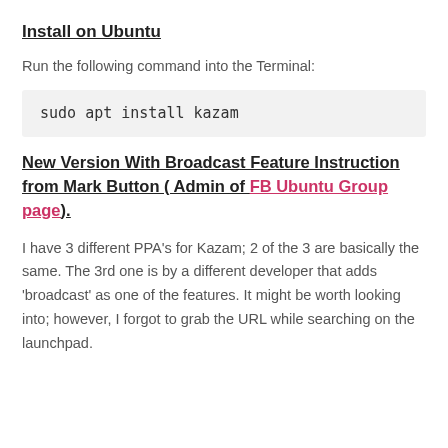Install on Ubuntu
Run the following command into the Terminal:
New Version With Broadcast Feature Instruction from Mark Button ( Admin of FB Ubuntu Group page).
I have 3 different PPA’s for Kazam; 2 of the 3 are basically the same. The 3rd one is by a different developer that adds ‘broadcast’ as one of the features. It might be worth looking into; however, I forgot to grab the URL while searching on the launchpad.